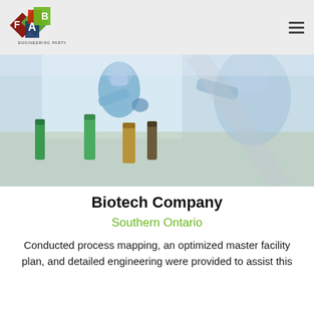[Figure (logo): FAB Engineering Partners logo — diamond shapes in red, green, blue with letters F, A, B and 'ENGINEERING PARTNERS' text]
[Figure (photo): Laboratory scientists in blue protective gear and masks working with bottles and samples at a lab bench]
Biotech Company
Southern Ontario
Conducted process mapping, an optimized master facility plan, and detailed engineering were provided to assist this